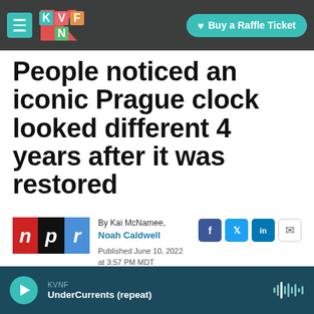KVNF | Buy a Raffle Ticket
People noticed an iconic Prague clock looked different 4 years after it was restored
By Kai McNamee, Noah Caldwell
Published June 10, 2022 at 3:57 PM MDT
KVNF UnderCurrents (repeat)